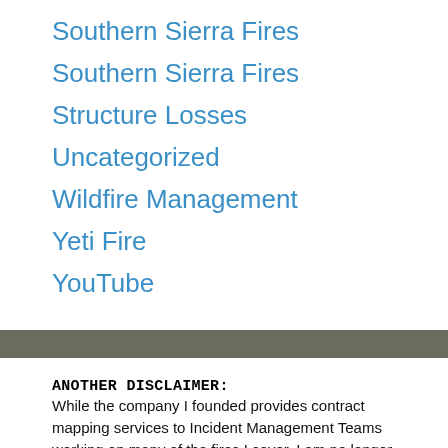Southern Sierra Fires
Southern Sierra Fires
Structure Losses
Uncategorized
Wildfire Management
Yeti Fire
YouTube
ANOTHER DISCLAIMER:
While the company I founded provides contract mapping services to Incident Management Teams working on many of the fires I cover, I am no longer involved in the day-to-day incident mapping operations of Deer Creek Resources, nor do I receive any privileged information from them. All of the data and intel I post here comes from public